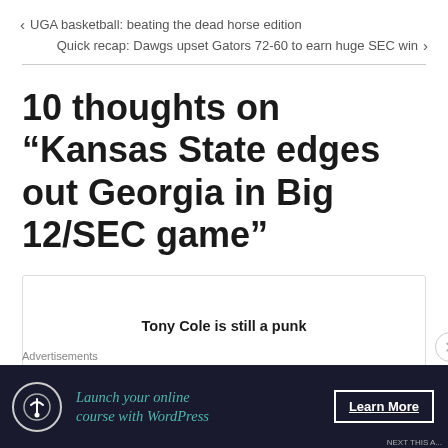< UGA basketball: beating the dead horse edition
Quick recap: Dawgs upset Gators 72-60 to earn huge SEC win >
10 thoughts on “Kansas State edges out Georgia in Big 12/SEC game”
Tony Cole is still a punk
Advertisements
[Figure (screenshot): Advertisement banner for WordPress online course: 'Launch your online course with WordPress' with 'Learn More' button]